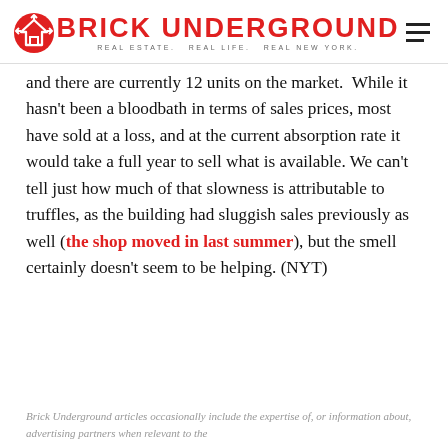BRICK UNDERGROUND — REAL ESTATE. REAL LIFE. REAL NEW YORK.
and there are currently 12 units on the market.  While it hasn't been a bloodbath in terms of sales prices, most have sold at a loss, and at the current absorption rate it would take a full year to sell what is available. We can't tell just how much of that slowness is attributable to truffles, as the building had sluggish sales previously as well (the shop moved in last summer), but the smell certainly doesn't seem to be helping. (NYT)
Brick Underground articles occasionally include the expertise of, or information about, advertising partners when relevant to the